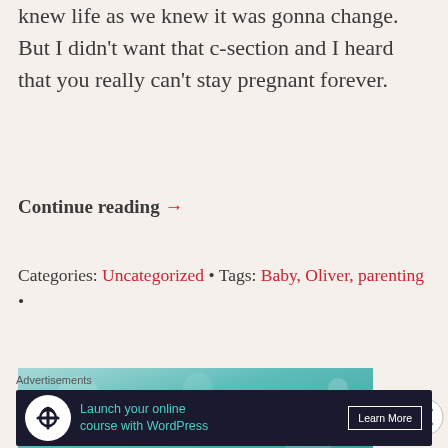knew life as we knew it was gonna change. But I didn't want that c-section and I heard that you really can't stay pregnant forever.
Continue reading →
Categories: Uncategorized • Tags: Baby, Oliver, parenting •
[Figure (photo): Teal/bokeh background with cursive text reading 'And I'd choose you, in a hundred lifetimes...']
[Figure (other): Close button (circled X) overlay]
Advertisements
[Figure (infographic): Dark banner ad: Launch your online course with WordPress — Learn More]